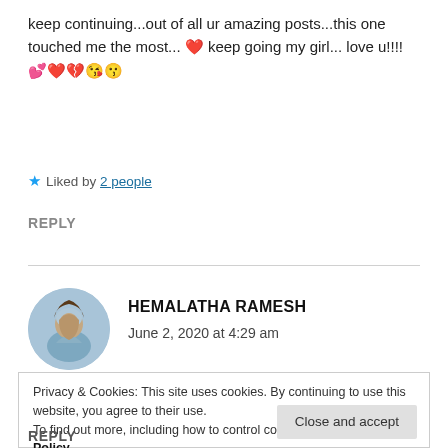keep continuing...out of all ur amazing posts...this one touched me the most... ❤️ keep going my girl... love u!!!! 💕❤️💔😘😗
★ Liked by 2 people
REPLY
[Figure (photo): Circular avatar photo of Hemalatha Ramesh showing a person against a blue sky background]
HEMALATHA RAMESH
June 2, 2020 at 4:29 am
Privacy & Cookies: This site uses cookies. By continuing to use this website, you agree to their use.
To find out more, including how to control cookies, see here: Cookie Policy
Close and accept
REPLY